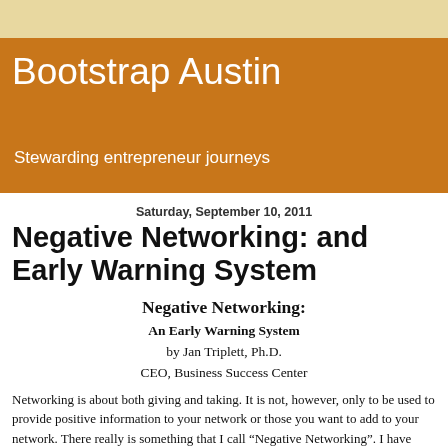Bootstrap Austin
Stewarding entrepreneur journeys
Saturday, September 10, 2011
Negative Networking: and Early Warning System
Negative Networking:
An Early Warning System
by Jan Triplett, Ph.D.
CEO, Business Success Center
Networking is about both giving and taking. It is not, however, only to be used to provide positive information to your network or those you want to add to your network. There really is something that I call “Negative Networking”. I have seen many people use it very effectively, even if they did not have a name for it.
To incorporate Negative Networking as a...